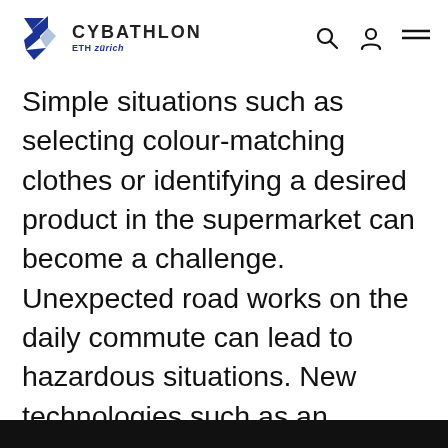CYBATHLON ETH zürich
Simple situations such as selecting colour-matching clothes or identifying a desired product in the supermarket can become a challenge. Unexpected road works on the daily commute can lead to hazardous situations. New technologies such as an intelligent white cane help to provide information about the environment that is otherwise accessed through vision by rendering the information to the available senses, such as touch or hearing. While there is a wide